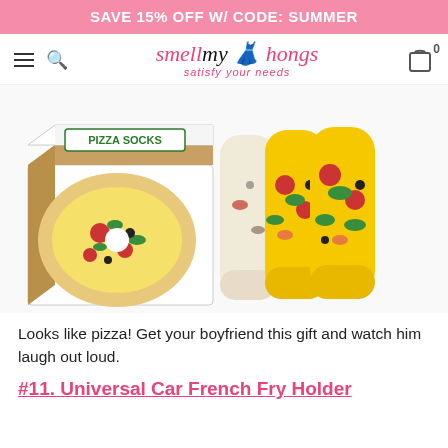SAVE 15% OFF W/ CODE: SUMMER
[Figure (logo): smellmythongs logo with tagline 'satisfy your needs']
[Figure (photo): Pizza socks product photo showing socks folded in a pizza box packaging, with multiple pairs of yellow socks with pizza toppings pattern displayed beside the box]
Looks like pizza! Get your boyfriend this gift and watch him laugh out loud.
#11. Universal Car French Fry Holder